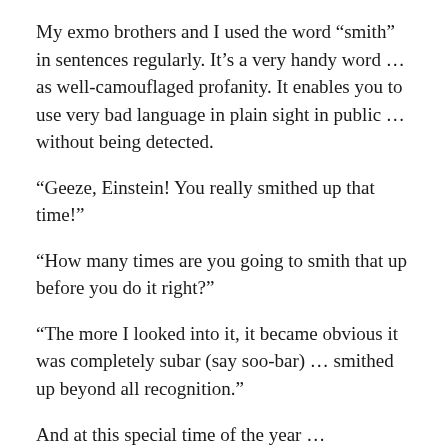My exmo brothers and I used the word “smith” in sentences regularly. It’s a very handy word… as well-camouflaged profanity. It enables you to use very bad language in plain sight in public… without being detected.
“Geeze, Einstein! You really smithed up that time!”
“How many times are you going to smith that up before you do it right?”
“The more I looked into it, it became obvious it was completely subar (say soo-bar)… smithed up beyond all recognition.”
And at this special time of the year…
♪♫ It’s beginning to smell a lot like SmithMas ♫♪